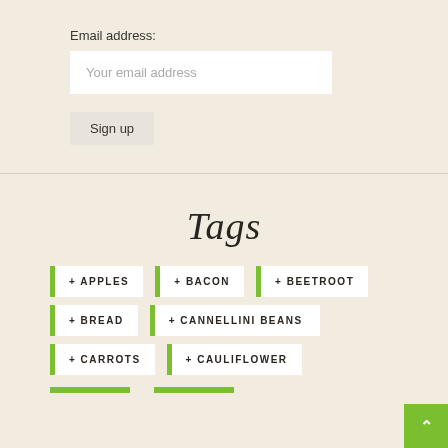Email address:
Your email address
Sign up
Tags
+ APPLES
+ BACON
+ BEETROOT
+ BREAD
+ CANNELLINI BEANS
+ CARROTS
+ CAULIFLOWER